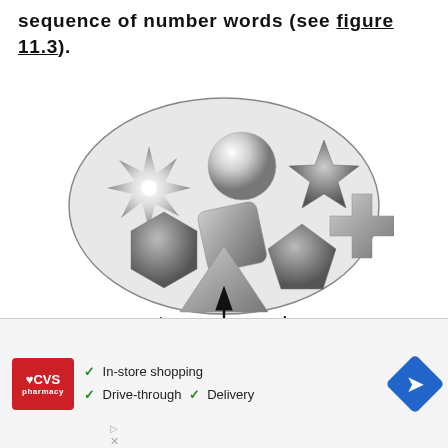sequence of number words (see figure 11.3).
[Figure (illustration): An oval/ellipse containing seven 3D-shaded geometric shapes: a spiky star (sun-burst), a sphere (circle), a six-pointed star, a hexagon, a rounded square/cube, a triangle, a pentagon, and a plus/cross shape. Below the oval is an upward-pointing arrow labeled 'one-to-one correspondence'.]
[Figure (other): Advertisement overlay showing CVS Pharmacy logo, checkmarks for 'In-store shopping', 'Drive-through', 'Delivery', and a blue diamond with navigation arrow icon.]